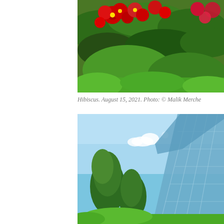[Figure (photo): Close-up photo of red hibiscus flowers with green fern-like leaves, shot looking upward at the canopy with pink blooms visible]
Hibiscus. August 15, 2021. Photo: © Malik Merche
[Figure (photo): Photo of a large glass pyramid or greenhouse structure with faceted blue glass panels, set against a blue sky with trees in the foreground]